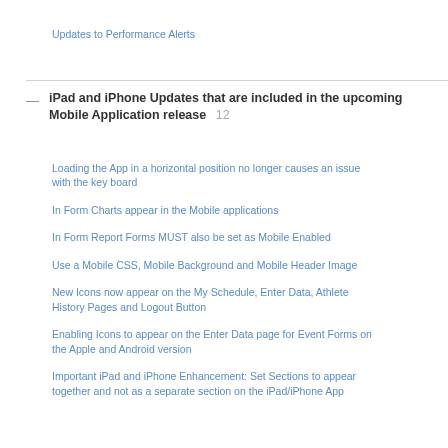Updates to Performance Alerts
iPad and iPhone Updates that are included in the upcoming Mobile Application release  12
Loading the App in a horizontal position no longer causes an issue with the key board
In Form Charts appear in the Mobile applications
In Form Report Forms MUST also be set as Mobile Enabled
Use a Mobile CSS, Mobile Background and Mobile Header Image
New Icons now appear on the My Schedule, Enter Data, Athlete History Pages and Logout Button
Enabling Icons to appear on the Enter Data page for Event Forms on the Apple and Android version
Important iPad and iPhone Enhancement: Set Sections to appear together and not as a separate section on the iPad/iPhone App...